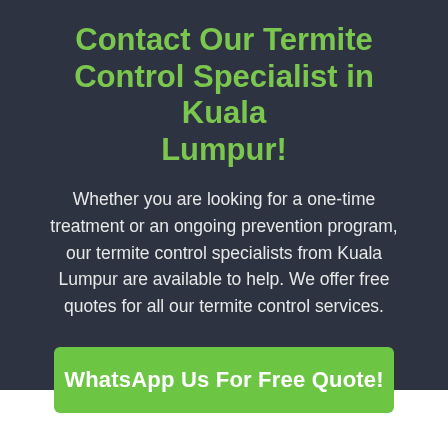Contact Our Termite Control Specialist in Kuala Lumpur!
Whether you are looking for a one-time treatment or an ongoing prevention program, our termite control specialists from Kuala Lumpur are available to help. We offer free quotes for all our termite control services.
WhatsApp Us For Free Quote!